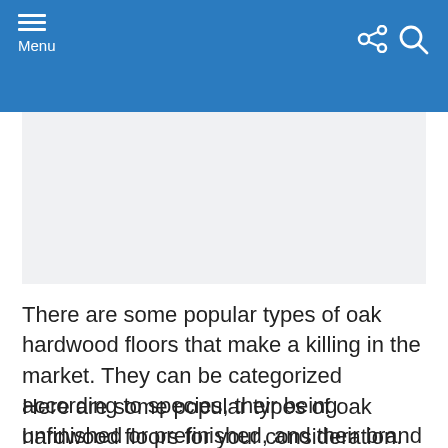Menu
[Figure (other): Advertisement or image placeholder area with light gray background]
There are some popular types of oak hardwood floors that make a killing in the market. They can be categorized according to species, their being unfinished or prefinished, and their brand or the mill they came from. Regardless, oak hardwood floors are classic additions to an interior space.
Here are some popular types of oak hardwood floors for your consideration.